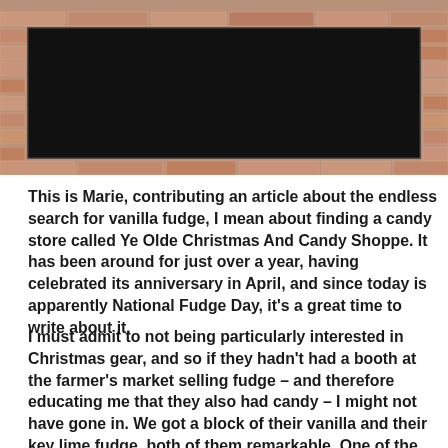[Figure (photo): A brick building exterior with a dark rectangular awning or sign area. A red banner is partially visible at the top. The storefront shows brick walls and a black recessed entryway or sign box.]
This is Marie, contributing an article about the endless search for vanilla fudge, I mean about finding a candy store called Ye Olde Christmas And Candy Shoppe. It has been around for just over a year, having celebrated its anniversary in April, and since today is apparently National Fudge Day, it's a great time to write about it.
I must admit to not being particularly interested in Christmas gear, and so if they hadn't had a booth at the farmer's market selling fudge – and therefore educating me that they also had candy – I might not have gone in. We got a block of their vanilla and their key lime fudge, both of them remarkable. One of the